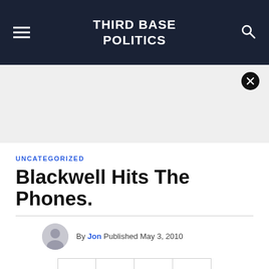THIRD BASE POLITICS
[Figure (other): Gray advertisement banner area with a black circle close/X button in the top right corner]
UNCATEGORIZED
Blackwell Hits The Phones.
By Jon Published May 3, 2010
[Figure (other): Row of four social share icon buttons: Facebook (f), Twitter (bird), Flipboard (f logo), Email (envelope)]